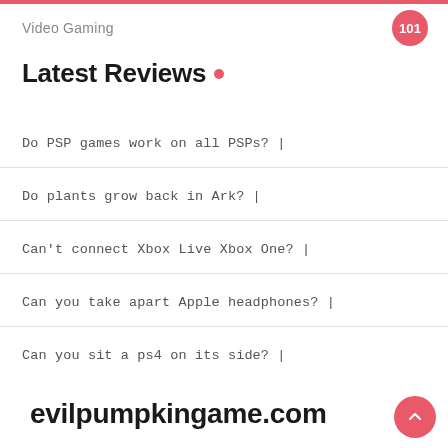Video Gaming 101
Latest Reviews.
Do PSP games work on all PSPs? |
Do plants grow back in Ark? |
Can't connect Xbox Live Xbox One? |
Can you take apart Apple headphones? |
Can you sit a ps4 on its side? |
evilpumpkingame.com